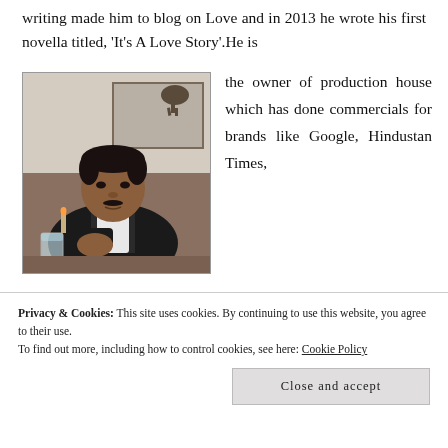writing made him to blog on Love and in 2013 he wrote his first novella titled, ‘It’s A Love Story’. He is the owner of production house which has done commercials for brands like Google, Hindustan Times,
[Figure (photo): Portrait photo of a young man in a black blazer and white shirt, seated at a table with a glass of water, in an indoor restaurant/cafe setting.]
Privacy & Cookies: This site uses cookies. By continuing to use this website, you agree to their use.
To find out more, including how to control cookies, see here: Cookie Policy
Close and accept